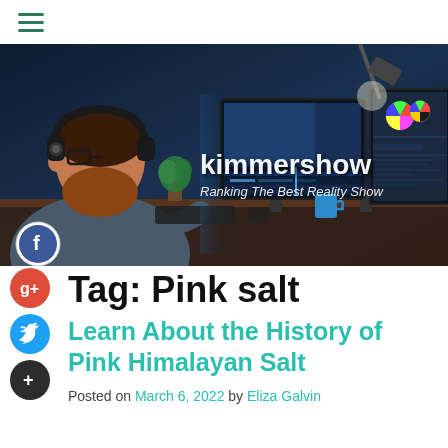≡
[Figure (photo): Man with headphones working at multiple monitors showing video editing software, with kimmershow branding overlay reading 'kimmershow / Ranking The Best Reality Show']
Tag: Pink salt
Learn About the History of Pink Himalayan Salt
Posted on March 6, 2022 by Eliza Galvin